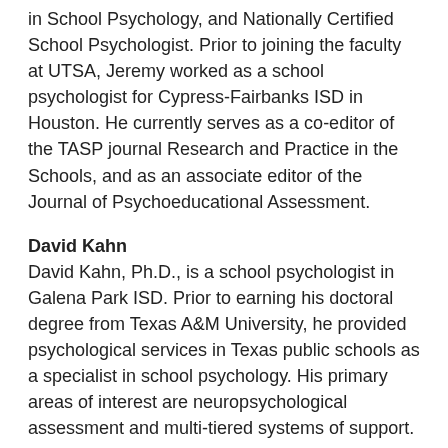in School Psychology, and Nationally Certified School Psychologist. Prior to joining the faculty at UTSA, Jeremy worked as a school psychologist for Cypress-Fairbanks ISD in Houston. He currently serves as a co-editor of the TASP journal Research and Practice in the Schools, and as an associate editor of the Journal of Psychoeducational Assessment.
David Kahn
David Kahn, Ph.D., is a school psychologist in Galena Park ISD. Prior to earning his doctoral degree from Texas A&M University, he provided psychological services in Texas public schools as a specialist in school psychology. His primary areas of interest are neuropsychological assessment and multi-tiered systems of support.  He completed a fellowship at the University of Arkansas for Medical Sciences in pediatric/school psychology and a residency in clinical neuropsychology at Mary Free Bed Rehabilitation Hospital. As a health service provider, he strives to help parents and teachers in their efforts to improve outcomes for children,